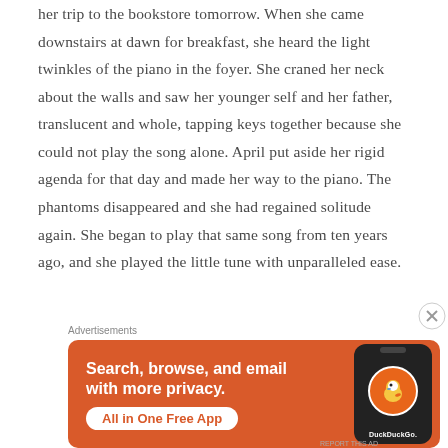her trip to the bookstore tomorrow. When she came downstairs at dawn for breakfast, she heard the light twinkles of the piano in the foyer. She craned her neck about the walls and saw her younger self and her father, translucent and whole, tapping keys together because she could not play the song alone. April put aside her rigid agenda for that day and made her way to the piano. The phantoms disappeared and she had regained solitude again. She began to play that same song from ten years ago, and she played the little tune with unparalleled ease.
Advertisements
[Figure (infographic): DuckDuckGo advertisement banner with orange background. Text reads 'Search, browse, and email with more privacy.' with a white button 'All in One Free App' and a phone showing the DuckDuckGo logo.]